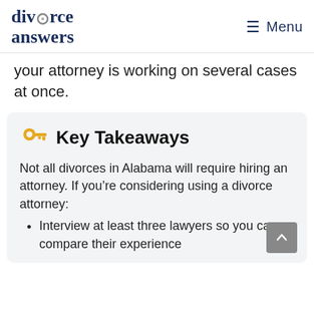divorce answers | Menu
your attorney is working on several cases at once.
Key Takeaways
Not all divorces in Alabama will require hiring an attorney. If you’re considering using a divorce attorney:
Interview at least three lawyers so you can compare their experience